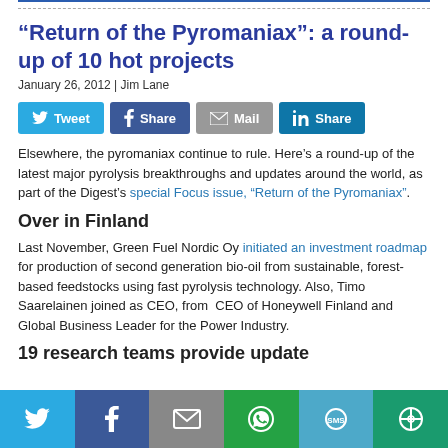“Return of the Pyromaniax”: a round-up of 10 hot projects
January 26, 2012 | Jim Lane
[Figure (other): Social share buttons: Tweet, Share (Facebook), Mail, Share (LinkedIn)]
Elsewhere, the pyromaniax continue to rule. Here’s a round-up of the latest major pyrolysis breakthroughs and updates around the world, as part of the Digest’s special Focus issue, “Return of the Pyromaniax”.
Over in Finland
Last November, Green Fuel Nordic Oy initiated an investment roadmap for production of second generation bio-oil from sustainable, forest-based feedstocks using fast pyrolysis technology. Also, Timo Saarelainen joined as CEO, from  CEO of Honeywell Finland and Global Business Leader for the Power Industry.
19 research teams provide update
[Figure (other): Bottom social share bar with Twitter, Facebook, Mail, WhatsApp, SMS, and More buttons]